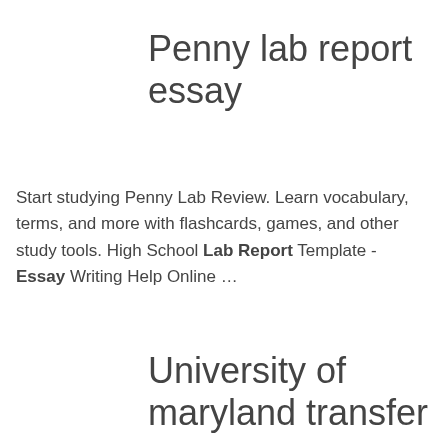Penny lab report essay
Start studying Penny Lab Review. Learn vocabulary, terms, and more with flashcards, games, and other study tools. High School Lab Report Template - Essay Writing Help Online …
Read more
University of maryland transfer essay